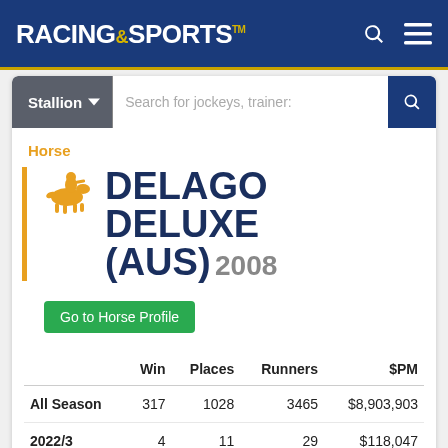RACING AND SPORTS
Stallion | Search for jockeys, trainer:
Horse
DELAGO DELUXE (AUS) 2008
Go to Horse Profile
|  | Win | Places | Runners | $PM |
| --- | --- | --- | --- | --- |
| All Season | 317 | 1028 | 3465 | $8,903,903 |
| 2022/3 | 4 | 11 | 29 | $118,047 |
| 2021/2 | 71 | 229 | 761 | $1,859,752 |